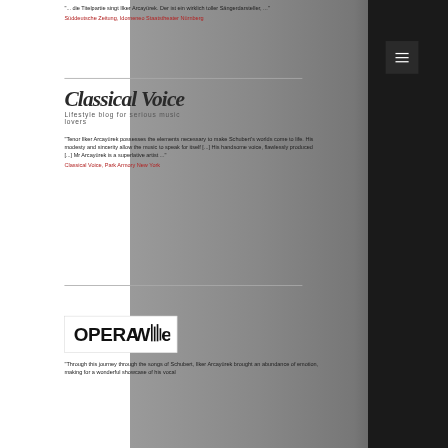"... die Titelpartie singt Ilker Arcayürek. Der ist ein wirklich toller Sängerdarsteller, ..."
Süddeutsche Zeitung, Idomeneo Staatstheater Nürnberg
[Figure (logo): Classical Voice - Lifestyle blog for serious music lovers logo]
"Tenor Ilker Arcayürek possesses the elements necessary to make Schubert's worlds come to life. His modesty and sincerity allow the music to speak for itself [...] His handsome voice, flawlessly produced [...] Mr Arcayürek is a superlative artist ..."
Classical Voice, Park Armory New York
[Figure (logo): OperaWire logo]
"Through this journey through the songs of Schubert, Ilker Arcayürek brought an abundance of emotion, making for a wonderful showcase of his vocal